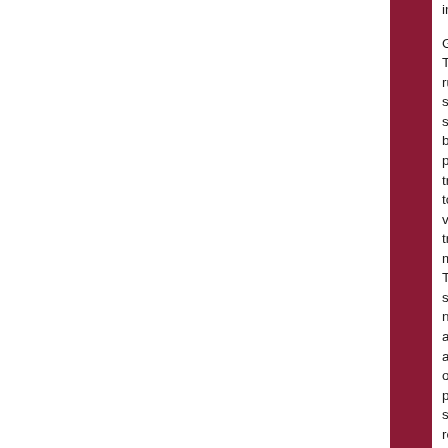installation.
Guidance:
Transverse rumble strips should be placed transverse to vehicular traffic movement. They should not adversely affect overall pavement skid resistance under wet or dry conditions.
In urban areas, even though a closer spacing might be warranted, transverse rumble strips should be designed in a manner that does not promote unnecessary braking or erratic steering maneuvers by road users.
Transverse rumble strips should not be placed on sharp horizontal or vertical curves.
Rumble strips should not be placed through pedestrian crossings or on bicycle routes.
Transverse rumble strips should not be placed on roadways used by bicyclists unless a minimum clear path of 1.2 m (4 ft) is provided at each edge of the roadway or on each paved shoulder as described in AASHTO's "Guide to the Development of..."